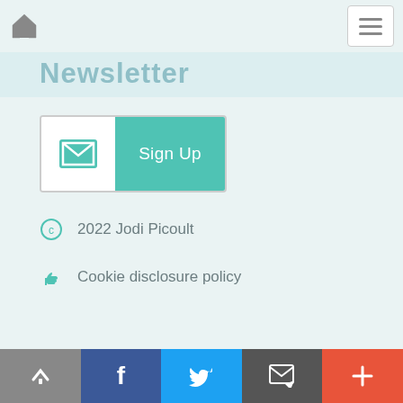Newsletter
[Figure (screenshot): Sign Up button with envelope icon on the left (white background) and 'Sign Up' text on teal/green background on the right]
© 2022 Jodi Picoult
Cookie disclosure policy
Social sharing bar with: scroll-up (gray), Facebook (blue), Twitter (blue), email/newsletter (dark gray), plus/more (red-orange)